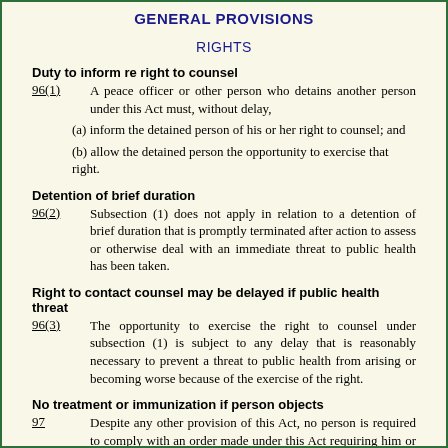GENERAL PROVISIONS
RIGHTS
Duty to inform re right to counsel
96(1)   A peace officer or other person who detains another person under this Act must, without delay,
(a) inform the detained person of his or her right to counsel; and
(b) allow the detained person the opportunity to exercise that right.
Detention of brief duration
96(2)   Subsection (1) does not apply in relation to a detention of brief duration that is promptly terminated after action to assess or otherwise deal with an immediate threat to public health has been taken.
Right to contact counsel may be delayed if public health threat
96(3)   The opportunity to exercise the right to counsel under subsection (1) is subject to any delay that is reasonably necessary to prevent a threat to public health from arising or becoming worse because of the exercise of the right.
No treatment or immunization if person objects
97   Despite any other provision of this Act, no person is required to comply with an order made under this Act requiring him or her to receive treatment or be immunized, if the person objects to the